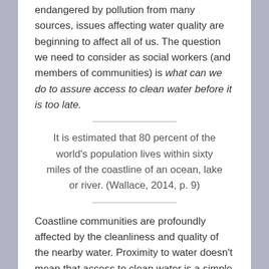endangered by pollution from many sources, issues affecting water quality are beginning to affect all of us. The question we need to consider as social workers (and members of communities) is what can we do to assure access to clean water before it is too late.
It is estimated that 80 percent of the world's population lives within sixty miles of the coastline of an ocean, lake or river. (Wallace, 2014, p. 9)
Coastline communities are profoundly affected by the cleanliness and quality of the nearby water. Proximity to water doesn't mean that access to clean water is a simple matter, even